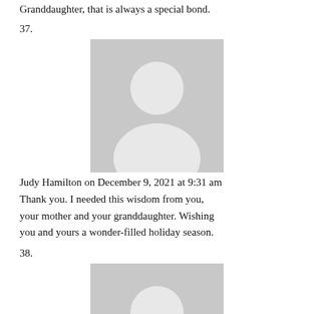Granddaughter, that is always a special bond.
37.
[Figure (illustration): Default user avatar placeholder — grey silhouette of a person on a light grey background]
Judy Hamilton on December 9, 2021 at 9:31 am
Thank you. I needed this wisdom from you, your mother and your granddaughter. Wishing you and yours a wonder-filled holiday season.
38.
[Figure (illustration): Default user avatar placeholder — grey silhouette of a person on a light grey background]
Barbara on December 9, 2021 at 9:31 am
What a poignant, yet hopeful, account of the beauty of a life well lived, both that of your mother and those of the tree and its companions. Your writing is most beautiful